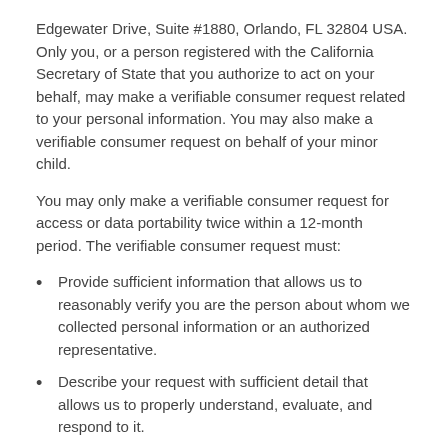Edgewater Drive, Suite #1880, Orlando, FL 32804 USA. Only you, or a person registered with the California Secretary of State that you authorize to act on your behalf, may make a verifiable consumer request related to your personal information. You may also make a verifiable consumer request on behalf of your minor child.
You may only make a verifiable consumer request for access or data portability twice within a 12-month period. The verifiable consumer request must:
Provide sufficient information that allows us to reasonably verify you are the person about whom we collected personal information or an authorized representative.
Describe your request with sufficient detail that allows us to properly understand, evaluate, and respond to it.
IZEA cannot respond to your request or provide you with personal information if we cannot verify your identity or authority to make the request and confirm the personal information relates to you. Making a verifiable consumer